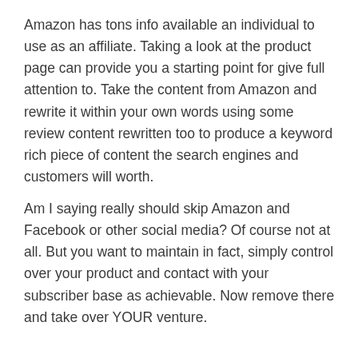Amazon has tons info available an individual to use as an affiliate. Taking a look at the product page can provide you a starting point for give full attention to. Take the content from Amazon and rewrite it within your own words using some review content rewritten too to produce a keyword rich piece of content the search engines and customers will worth.
Am I saying really should skip Amazon and Facebook or other social media? Of course not at all. But you want to maintain in fact, simply control over your product and contact with your subscriber base as achievable. Now remove there and take over YOUR venture.